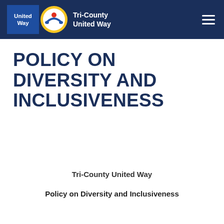Tri-County United Way
POLICY ON DIVERSITY AND INCLUSIVENESS
Tri-County United Way
Policy on Diversity and Inclusiveness